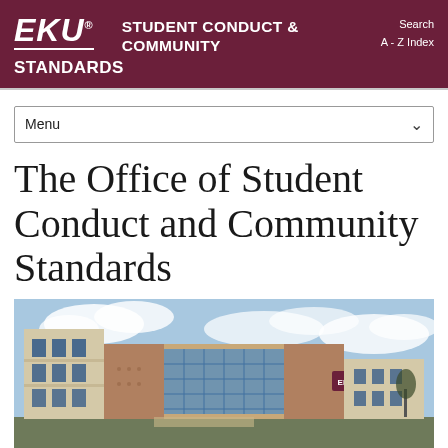EKU STUDENT CONDUCT & COMMUNITY STANDARDS
Menu
The Office of Student Conduct and Community Standards
[Figure (photo): Exterior photo of an EKU campus building with brick and glass facade, blue sky with clouds in the background, and an EKU sign visible.]